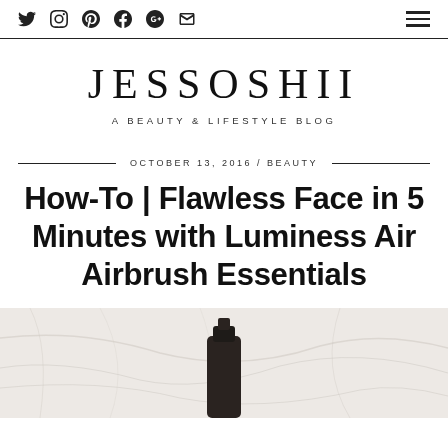JESSOSHII — A BEAUTY & LIFESTYLE BLOG — Nav icons: Twitter, Instagram, Pinterest, Facebook, Google+, Email, Hamburger menu
OCTOBER 13, 2016 / BEAUTY
How-To | Flawless Face in 5 Minutes with Luminess Air Airbrush Essentials
[Figure (photo): Marble surface with a dark cosmetic bottle/airbrush product partially visible at bottom center]